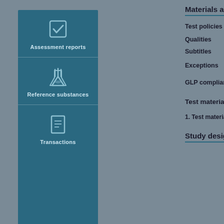[Figure (infographic): Left sidebar panel with teal/dark blue background showing three icon sections: Assessment reports (checkbox icon), Reference substances (flask/beaker icon), and Transactions (document icon)]
Materials an...
Test policies
Qualities
Subtitles
Exceptions
GLP compliance
Test material
1. Test material...
Study design